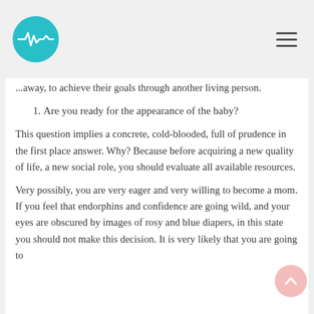[Logo: teal circle with heartbeat/waveform icon] [Hamburger menu icon]
...away, to achieve their goals through another living person.
1. Are you ready for the appearance of the baby?
This question implies a concrete, cold-blooded, full of prudence in the first place answer. Why? Because before acquiring a new quality of life, a new social role, you should evaluate all available resources.
Very possibly, you are very eager and very willing to become a mom. If you feel that endorphins and confidence are going wild, and your eyes are obscured by images of rosy and blue diapers, in this state you should not make this decision. It is very likely that you are going to...